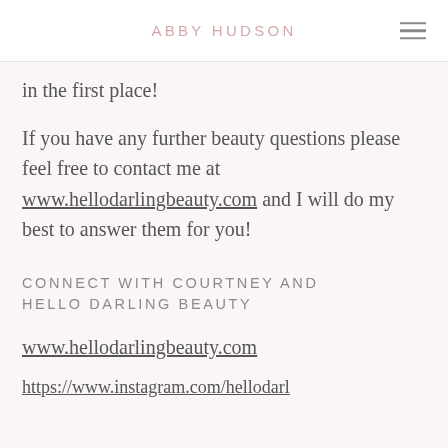ABBY HUDSON
in the first place!
If you have any further beauty questions please feel free to contact me at www.hellodarlingbeauty.com and I will do my best to answer them for you!
CONNECT WITH COURTNEY AND HELLO DARLING BEAUTY
www.hellodarlingbeauty.com
https://www.instagram.com/hellodarl